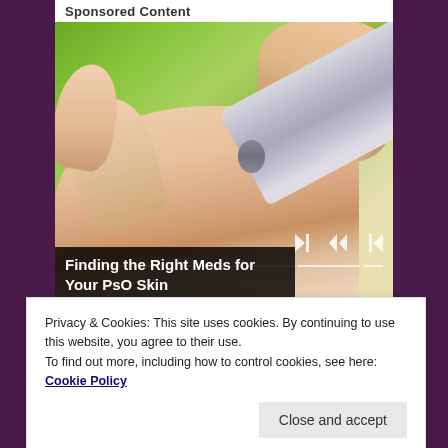Sponsored Content
[Figure (photo): Close-up photo of a hand with an open palm and a silver/metal tube (medical cream/medication tube) being held above it, with a green blurred background. Media player controls visible at bottom right of image.]
Finding the Right Meds for Your PsO Skin
Privacy & Cookies: This site uses cookies. By continuing to use this website, you agree to their use.
To find out more, including how to control cookies, see here: Cookie Policy
Close and accept